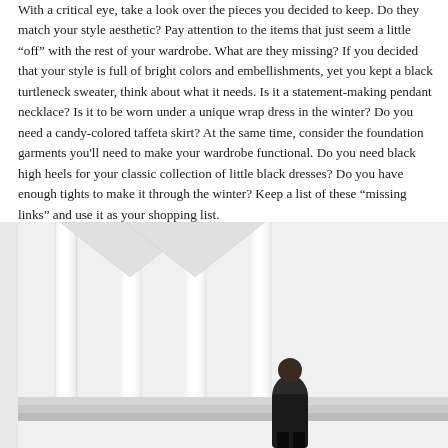With a critical eye, take a look over the pieces you decided to keep. Do they match your style aesthetic? Pay attention to the items that just seem a little “off” with the rest of your wardrobe. What are they missing? If you decided that your style is full of bright colors and embellishments, yet you kept a black turtleneck sweater, think about what it needs. Is it a statement-making pendant necklace? Is it to be worn under a unique wrap dress in the winter? Do you need a candy-colored taffeta skirt? At the same time, consider the foundation garments you'll need to make your wardrobe functional. Do you need black high heels for your classic collection of little black dresses? Do you have enough tights to make it through the winter? Keep a list of these “missing links” and use it as your shopping list.
[Figure (photo): Outdoor photograph showing a person standing in front of white architectural columns or pillars of a building. A second partial scene appears on the right side showing trees and a building in the background. The image is cropped at the bottom.]